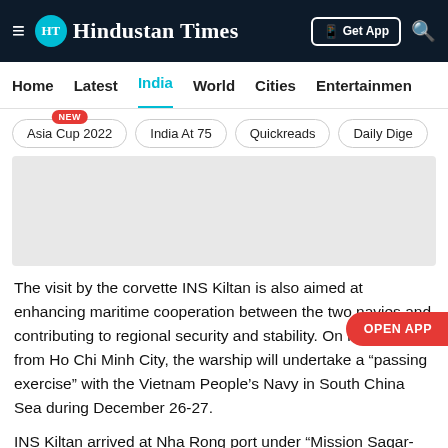Hindustan Times
Home  Latest  India  World  Cities  Entertainment
Asia Cup 2022  NEW
India At 75
Quickreads
Daily Dige...
[Figure (other): Advertisement placeholder grey box]
The visit by the corvette INS Kiltan is also aimed at enhancing maritime cooperation between the two navies and contributing to regional security and stability. On its departure from Ho Chi Minh City, the warship will undertake a “passing exercise” with the Vietnam People’s Navy in South China Sea during December 26-27.
INS Kiltan arrived at Nha Rong port under “Mission Sagar-III”, part of India’s humanitarian assistance and disaster relief